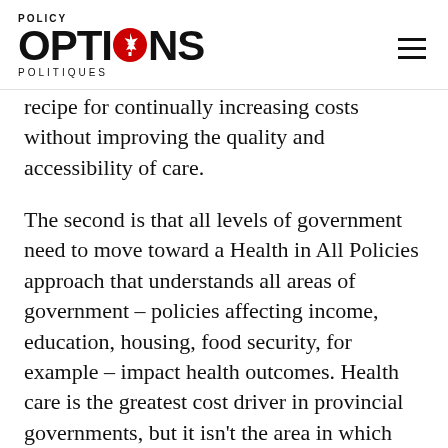POLICY OPTIONS POLITIQUES
recipe for continually increasing costs without improving the quality and accessibility of care.
The second is that all levels of government need to move toward a Health in All Policies approach that understands all areas of government – policies affecting income, education, housing, food security, for example – impact health outcomes. Health care is the greatest cost driver in provincial governments, but it isn't the area in which spending has the greatest impact on health – and it's not where those